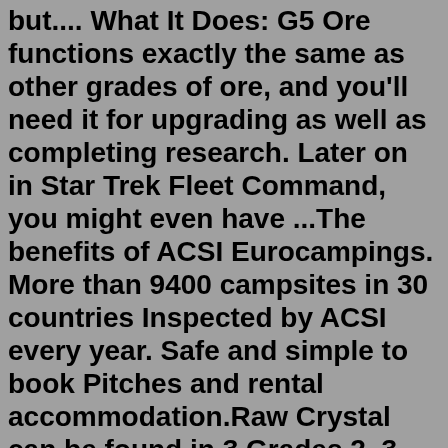but.... What It Does: G5 Ore functions exactly the same as other grades of ore, and you'll need it for upgrading as well as completing research. Later on in Star Trek Fleet Command, you might even have ...The benefits of ACSI Eurocampings. More than 9400 campsites in 30 countries Inspected by ACSI every year. Safe and simple to book Pitches and rental accommodation.Raw Crystal can be found in 3 Grades 2, 3 and 4 stars - and refines into Common, Uncommon in the 2, 3 Grade and an additional Rare quality for the 3 and 4 Stars. Grade 3 materials can be refined at Refinery and Ops level 20. Also it can be sourced throughout the Neutral Zone and the Faction Zones, with the latter also providing it in large planet-sized quantities with nothing to differentiate ... In this video we take a look at G3 star resources outside of faction space and what it takes to get there!---Join the battle in this action-packed game starr... Apr 01, 2019 · How to Get G3 Ore. G3 simply refers to Grade 3 Ore, so it's basically just a higher level of ore than what you normally find. You can find G3 Ore in tons